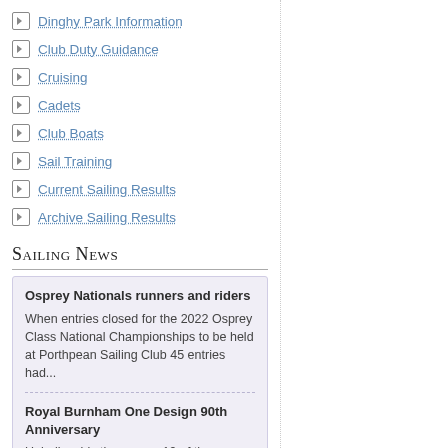Dinghy Park Information
Club Duty Guidance
Cruising
Cadets
Club Boats
Sail Training
Current Sailing Results
Archive Sailing Results
Sailing News
Osprey Nationals runners and riders
When entries closed for the 2022 Osprey Class National Championships to be held at Porthpean Sailing Club 45 entries had...
Royal Burnham One Design 90th Anniversary
Unbelievably there were 19 of these venerable one designs on the start line over the first